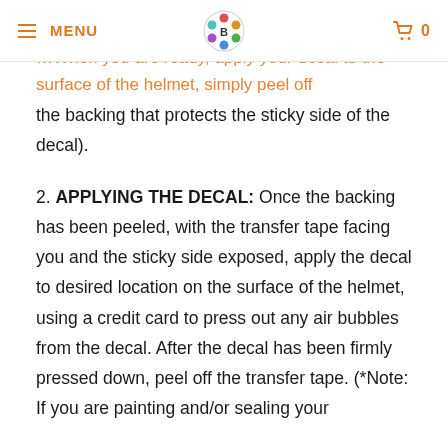MENU | [logo] | 0
the backing that protects the sticky side of the decal).
2. APPLYING THE DECAL: Once the backing has been peeled, with the transfer tape facing you and the sticky side exposed, apply the decal to desired location on the surface of the helmet, using a credit card to press out any air bubbles from the decal. After the decal has been firmly pressed down, peel off the transfer tape. (*Note: If you are painting and/or sealing your